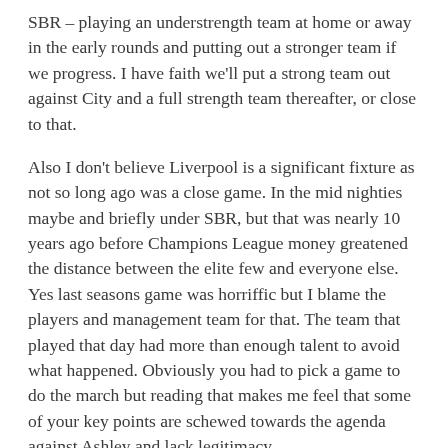SBR – playing an understrength team at home or away in the early rounds and putting out a stronger team if we progress. I have faith we'll put a strong team out against City and a full strength team thereafter, or close to that.
Also I don't believe Liverpool is a significant fixture as not so long ago was a close game. In the mid nighties maybe and briefly under SBR, but that was nearly 10 years ago before Champions League money greatened the distance between the elite few and everyone else. Yes last seasons game was horriffic but I blame the players and management team for that. The team that played that day had more than enough talent to avoid what happened. Obviously you had to pick a game to do the march but reading that makes me feel that some of your key points are schewed towards the agenda against Ashley and lack legitimacy.